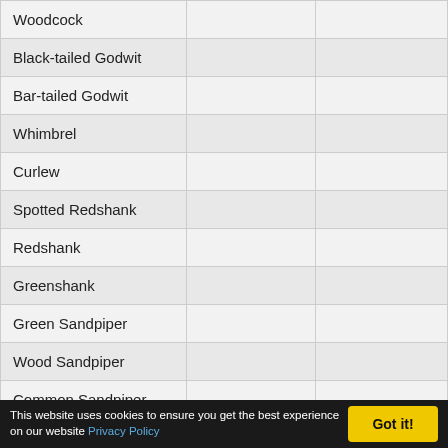|  |  |  |
| --- | --- | --- |
| Woodcock |  |  |
| Black-tailed Godwit |  |  |
| Bar-tailed Godwit |  |  |
| Whimbrel |  |  |
| Curlew |  |  |
| Spotted Redshank |  |  |
| Redshank |  |  |
| Greenshank |  |  |
| Green Sandpiper |  |  |
| Wood Sandpiper |  |  |
| Common Sandpiper |  |  |
| Turnstone |  |  |
| Red-necked Phalarope | May 31st 2015 | Main Pit, Theale |
| Grey Phalarope |  |  |
This website uses cookies to ensure you get the best experience on our website Privacy Policy  Got it!